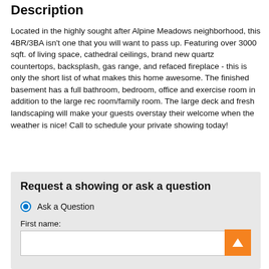Description
Located in the highly sought after Alpine Meadows neighborhood, this 4BR/3BA isn't one that you will want to pass up. Featuring over 3000 sqft. of living space, cathedral ceilings, brand new quartz countertops, backsplash, gas range, and refaced fireplace - this is only the short list of what makes this home awesome. The finished basement has a full bathroom, bedroom, office and exercise room in addition to the large rec room/family room. The large deck and fresh landscaping will make your guests overstay their welcome when the weather is nice! Call to schedule your private showing today!
Request a showing or ask a question
Ask a Question
First name: